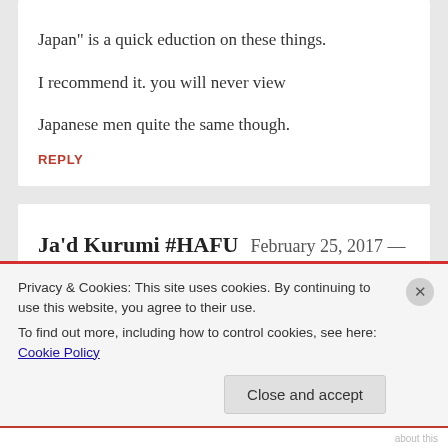Japan” is a quick eduction on these things. I recommend it. you will never view Japanese men quite the same though.
REPLY
Ja’d Kurumi #HAFU  February 25, 2017 — 9:01 pm
Privacy & Cookies: This site uses cookies. By continuing to use this website, you agree to their use.
To find out more, including how to control cookies, see here: Cookie Policy
Close and accept